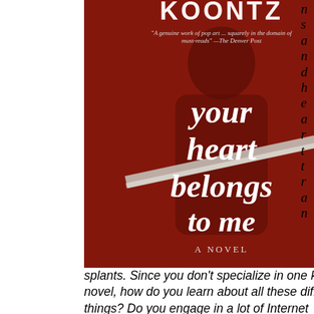[Figure (illustration): Book cover of 'Your Heart Belongs to Me' — a dark red cover showing a shadowed figure, with bold white text reading 'your heart belongs to me A NOVEL'. At top, author name (partially visible) and a quote: 'A genuine work of pop art ... squarely in the domain of must-reads' — The Denver Post.]
nsandheartransplants.
splants. Since you don't specialize in one kind of novel, how do you learn about all these different things? Do you engage in a lot of Internet research?
I never go on-line. My writing schedule and other obligations keep me busy 18/7. The other six hours, I sleep. I know that I am a potentially obsessive